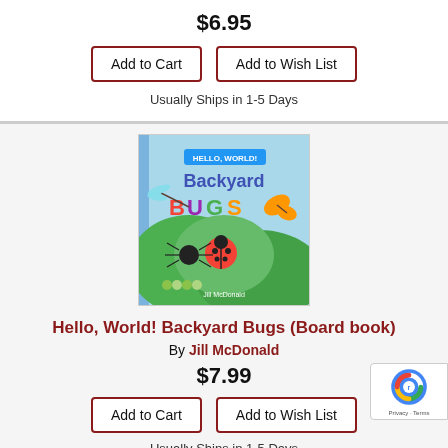$6.95
Add to Cart
Add to Wish List
Usually Ships in 1-5 Days
[Figure (photo): Book cover of Hello, World! Backyard Bugs board book by Jill McDonald, showing colorful cartoon bugs on green leaves with a blue sky background.]
Hello, World! Backyard Bugs (Board book)
By Jill McDonald
$7.99
Add to Cart
Add to Wish List
Usually Ships in 1-5 Days